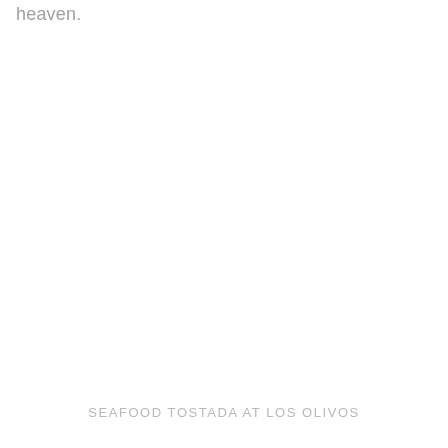heaven.
SEAFOOD TOSTADA AT LOS OLIVOS